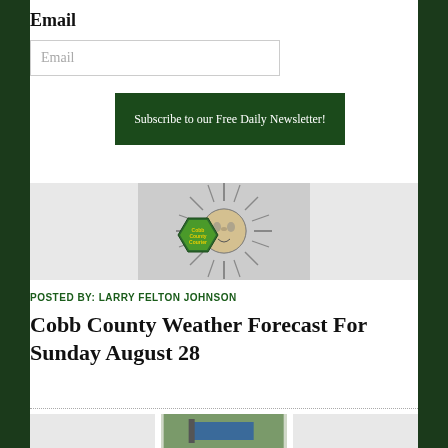Email
Email
Subscribe to our Free Daily Newsletter!
[Figure (logo): Cobb County Courier logo with a sun illustration and green hexagonal badge]
POSTED BY: LARRY FELTON JOHNSON
Cobb County Weather Forecast For Sunday August 28
[Figure (photo): Three article thumbnail images at the bottom of the page]